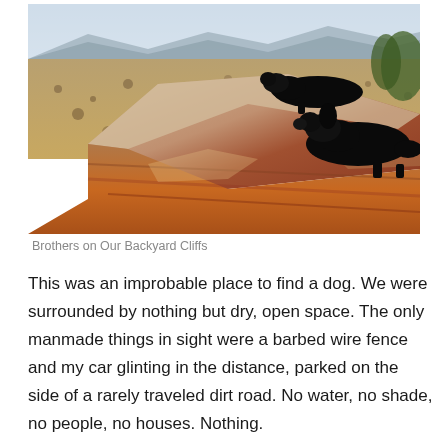[Figure (photo): Two black dogs resting on a large reddish-orange rock cliff overlooking a vast dry desert landscape with sparse scrub brush and mountains in the distance.]
Brothers on Our Backyard Cliffs
This was an improbable place to find a dog. We were surrounded by nothing but dry, open space. The only manmade things in sight were a barbed wire fence and my car glinting in the distance, parked on the side of a rarely traveled dirt road. No water, no shade, no people, no houses. Nothing.